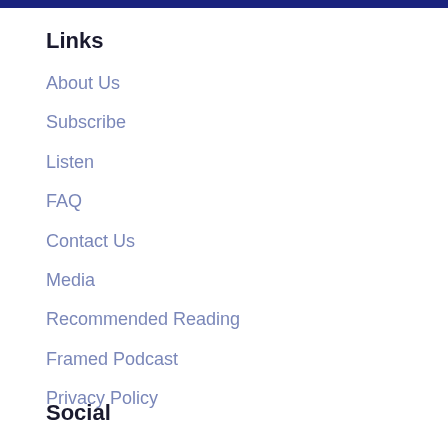Links
About Us
Subscribe
Listen
FAQ
Contact Us
Media
Recommended Reading
Framed Podcast
Privacy Policy
Social